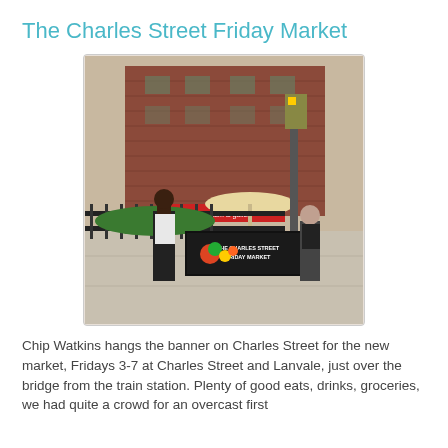The Charles Street Friday Market
[Figure (photo): Two men standing on a sidewalk on Charles Street, holding a banner that reads 'The Charles Street Friday Market'. A brick building and street scene visible in the background.]
Chip Watkins hangs the banner on Charles Street for the new market, Fridays 3-7 at Charles Street and Lanvale, just over the bridge from the train station. Plenty of good eats, drinks, groceries, we had quite a crowd for an overcast first